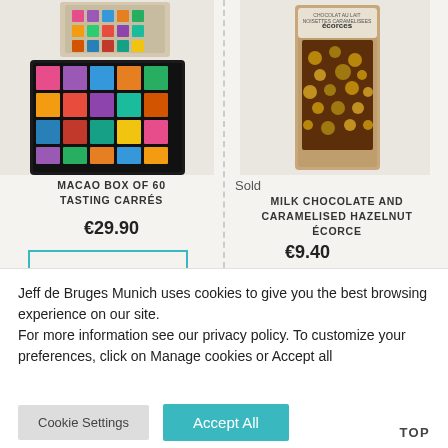[Figure (photo): Colorful Macao chocolate tasting box with 60 squares in various colors, shown with its packaging sleeve]
MACAO BOX OF 60 TASTING CARRÉS
€29.90
[Figure (photo): Milk chocolate and caramelised hazelnut écorce bar in brown kraft paper packaging with écorces label]
Sold
MILK CHOCOLATE AND CARAMELISED HAZELNUT ÉCORCE
€9.40
Jeff de Bruges Munich uses cookies to give you the best browsing experience on our site.
For more information see our privacy policy. To customize your preferences, click on Manage cookies or Accept all